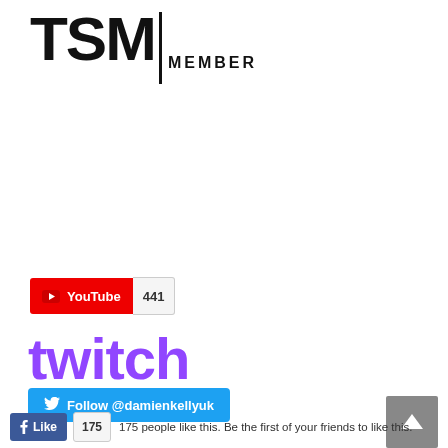[Figure (logo): TSM MEMBER logo — large bold TSM letters with a vertical bar divider and MEMBER text below]
[Figure (other): YouTube subscribe button showing count 441]
[Figure (logo): Twitch logo in purple bold text]
[Figure (other): Twitter Follow @damienkellyuk button in blue]
[Figure (other): Scroll-to-top arrow button in grey on the right side]
[Figure (other): Bottom strip with Facebook like button and partial text]